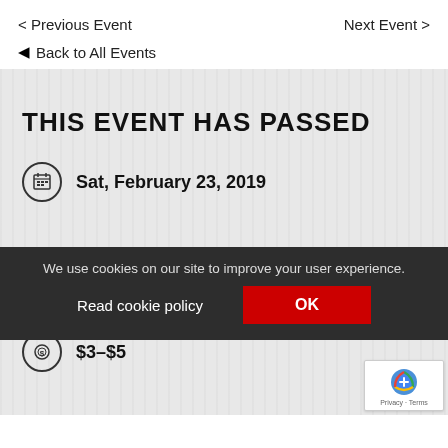< Previous Event
Next Event >
← Back to All Events
THIS EVENT HAS PASSED
Sat, February 23, 2019
We use cookies on our site to improve your user experience.
Read cookie policy
OK
$3–$5